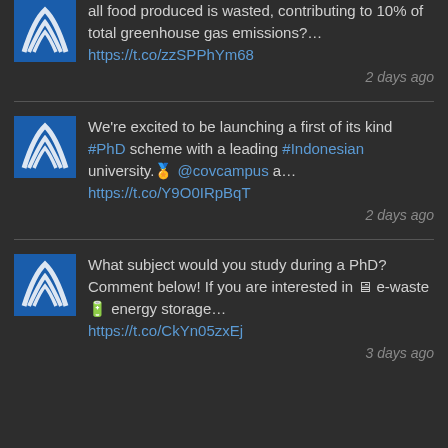all food produced is wasted, contributing to 10% of total greenhouse gas emissions?… https://t.co/zzSPPhYm68
2 days ago
We're excited to be launching a first of its kind #PhD scheme with a leading #Indonesian university.🏅 @covcampus a… https://t.co/Y9O0IRpBqT
2 days ago
What subject would you study during a PhD? Comment below! If you are interested in 🖥 e-waste 🔋 energy storage… https://t.co/CkYn05zxEj
3 days ago